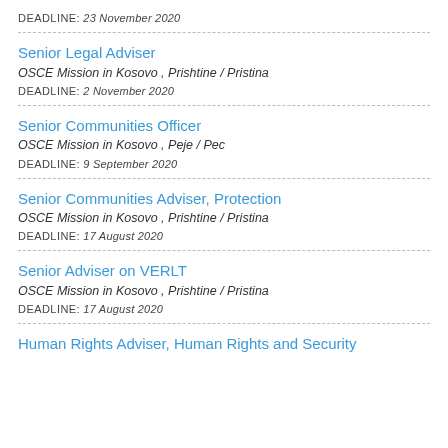DEADLINE: 23 November 2020
Senior Legal Adviser
OSCE Mission in Kosovo , Prishtine / Pristina
DEADLINE: 2 November 2020
Senior Communities Officer
OSCE Mission in Kosovo , Peje / Pec
DEADLINE: 9 September 2020
Senior Communities Adviser, Protection
OSCE Mission in Kosovo , Prishtine / Pristina
DEADLINE: 17 August 2020
Senior Adviser on VERLT
OSCE Mission in Kosovo , Prishtine / Pristina
DEADLINE: 17 August 2020
Human Rights Adviser, Human Rights and Security